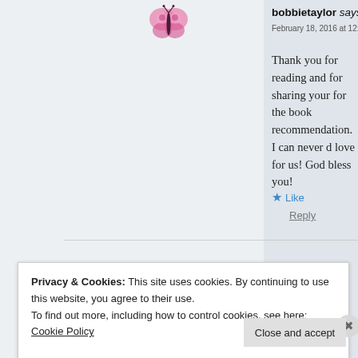bobbietaylor says:
February 18, 2016 at 12:32 pm
Thank you for reading and for sharing your for the book recommendation. I can never d love for us! God bless you!
Like
Reply
Privacy & Cookies: This site uses cookies. By continuing to use this website, you agree to their use.
To find out more, including how to control cookies, see here: Cookie Policy
Close and accept